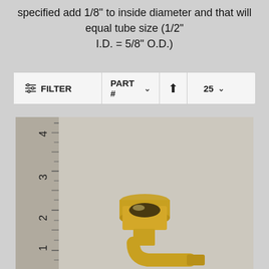specified add 1/8" to inside diameter and that will equal tube size (1/2" I.D. = 5/8" O.D.)
[Figure (screenshot): Filter bar UI with FILTER button, PART # dropdown, sort arrow, and 25 per page dropdown]
[Figure (photo): Brass elbow fitting (compression type) photographed against a ruler background showing measurements 1 through 4 inches, with HOMEFIXITPARTS.COM watermark text on left side]